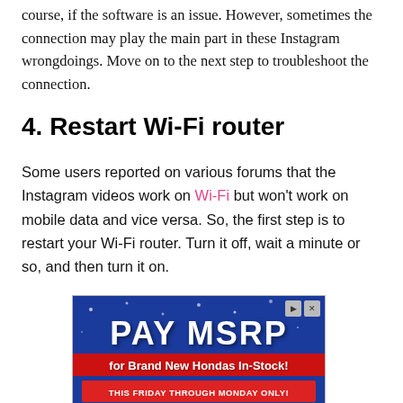course, if the software is an issue. However, sometimes the connection may play the main part in these Instagram wrongdoings. Move on to the next step to troubleshoot the connection.
4. Restart Wi-Fi router
Some users reported on various forums that the Instagram videos work on Wi-Fi but won't work on mobile data and vice versa. So, the first step is to restart your Wi-Fi router. Turn it off, wait a minute or so, and then turn it on.
[Figure (advertisement): Advertisement banner: PAY MSRP for Brand New Hondas In-Stock! This Friday Through Monday Only! with Honda cars image.]